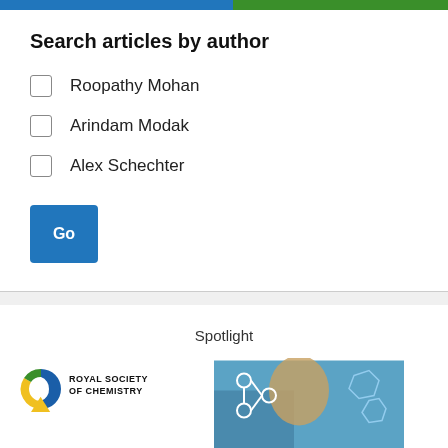Search articles by author
Roopathy Mohan
Arindam Modak
Alex Schechter
Go
Spotlight
[Figure (logo): Royal Society of Chemistry logo with circular C icon in blue, yellow, and green, with text ROYAL SOCIETY OF CHEMISTRY]
[Figure (photo): Scientific/chemistry themed image showing a human figure silhouette with molecular structures overlaid in blue tones]